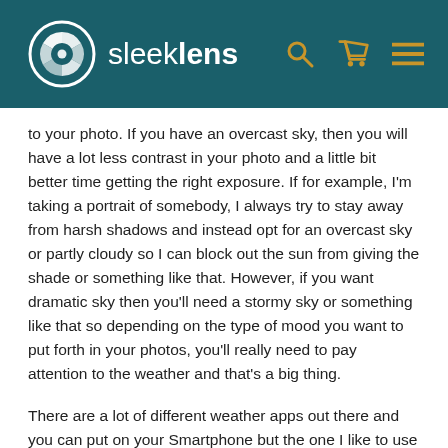sleeklens
to your photo. If you have an overcast sky, then you will have a lot less contrast in your photo and a little bit better time getting the right exposure. If for example, I'm taking a portrait of somebody, I always try to stay away from harsh shadows and instead opt for an overcast sky or partly cloudy so I can block out the sun from giving the shade or something like that. However, if you want dramatic sky then you'll need a stormy sky or something like that so depending on the type of mood you want to put forth in your photos, you'll really need to pay attention to the weather and that's a big thing.
There are a lot of different weather apps out there and you can put on your Smartphone but the one I like to use is called Storm but unfortunately it's only for iOS, for iPhones and the like. This is a really great app because my main interest in that app is to track lightning strikes and so if you are one of those lightening